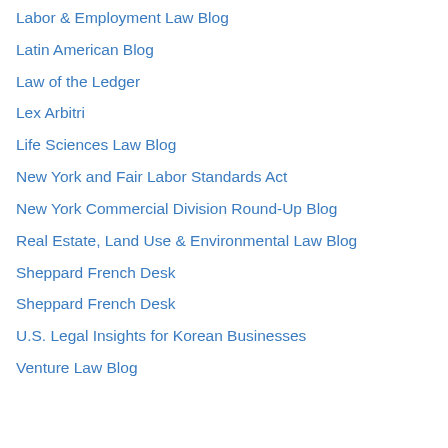Labor & Employment Law Blog
Latin American Blog
Law of the Ledger
Lex Arbitri
Life Sciences Law Blog
New York and Fair Labor Standards Act
New York Commercial Division Round-Up Blog
Real Estate, Land Use & Environmental Law Blog
Sheppard French Desk
Sheppard French Desk
U.S. Legal Insights for Korean Businesses
Venture Law Blog